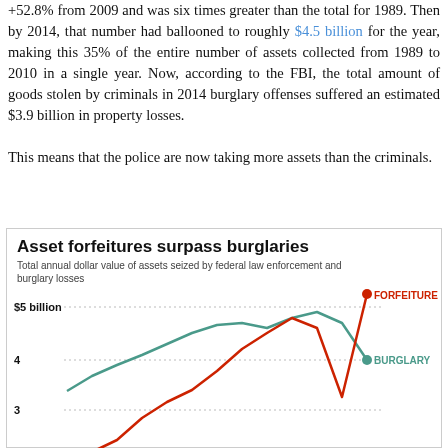+52.8% from 2009 and was six times greater than the total for 1989. Then by 2014, that number had ballooned to roughly $4.5 billion for the year, making this 35% of the entire number of assets collected from 1989 to 2010 in a single year. Now, according to the FBI, the total amount of goods stolen by criminals in 2014 burglary offenses suffered an estimated $3.9 billion in property losses.

This means that the police are now taking more assets than the criminals.
[Figure (line-chart): Asset forfeitures surpass burglaries]